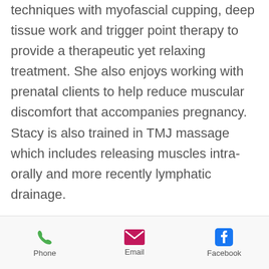techniques with myofascial cupping, deep tissue work and trigger point therapy to provide a therapeutic yet relaxing treatment. She also enjoys working with prenatal clients to help reduce muscular discomfort that accompanies pregnancy. Stacy is also trained in TMJ massage which includes releasing muscles intra-orally and more recently lymphatic drainage.

She has a passion for helping people and is excited to continue her education in the future.
[Figure (other): Mobile app bottom navigation bar with three items: Phone (green phone icon), Email (magenta envelope icon), Facebook (blue Facebook icon)]